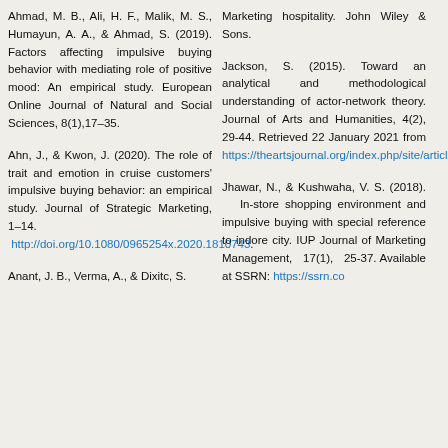Ahmad, M. B., Ali, H. F., Malik, M. S., Humayun, A. A., & Ahmad, S. (2019). Factors affecting impulsive buying behavior with mediating role of positive mood: An empirical study. European Online Journal of Natural and Social Sciences, 8(1),17–35.
Ahn, J., & Kwon, J. (2020). The role of trait and emotion in cruise customers' impulsive buying behavior: an empirical study. Journal of Strategic Marketing, 1–14. http://doi.org/10.1080/0965254x.2020.1810743.
Anant, J. B., Verma, A., & Dixitc, S.
Marketing hospitality. John Wiley & Sons.
Jackson, S. (2015). Toward an analytical and methodological understanding of actor-network theory. Journal of Arts and Humanities, 4(2), 29-44. Retrieved 22 January 2021 from https://theartsjournal.org/index.php/site/article/view/210/349.
Jhawar, N., & Kushwaha, V. S. (2018). In-store shopping environment and impulsive buying with special reference to indore city. IUP Journal of Marketing Management, 17(1), 25-37. Available at SSRN: https://ssrn.co